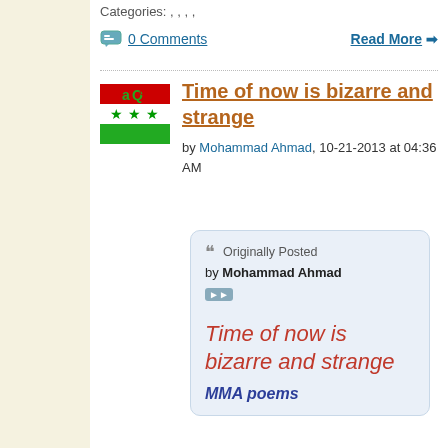Categories: , , , ,
0 Comments    Read More →
[Figure (logo): IraqQ logo with Iraqi flag colors and stars]
Time of now is bizarre and strange
by Mohammad Ahmad, 10-21-2013 at 04:36 AM
Originally Posted by Mohammad Ahmad
»
Time of now is bizarre and strange
MMA poems